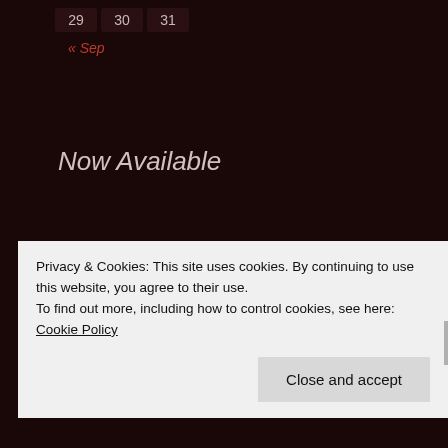| 29 | 30 | 31 |
« Sep
Now Available
Archives
September 2017
May 2017
Privacy & Cookies: This site uses cookies. By continuing to use this website, you agree to their use.
To find out more, including how to control cookies, see here: Cookie Policy
Close and accept